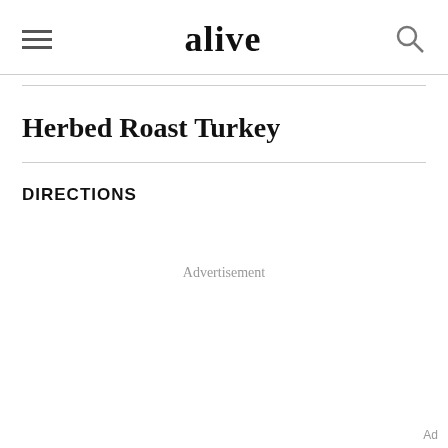alive
Herbed Roast Turkey
DIRECTIONS
Advertisement
Ad